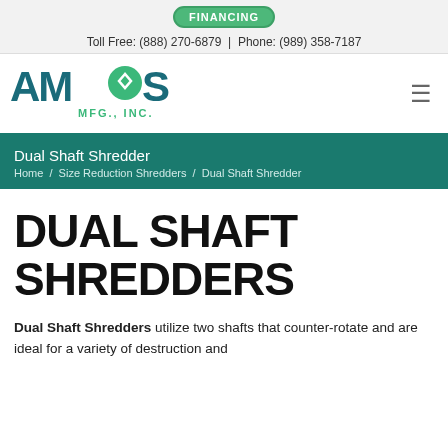FINANCING
Toll Free: (888) 270-6879 | Phone: (989) 358-7187
[Figure (logo): AMOS MFG., INC. logo with text 'Reduction and Recycling Solutions']
Dual Shaft Shredder
Home / Size Reduction Shredders / Dual Shaft Shredder
DUAL SHAFT SHREDDERS
Dual Shaft Shredders utilize two shafts that counter-rotate and are ideal for a variety of destruction and